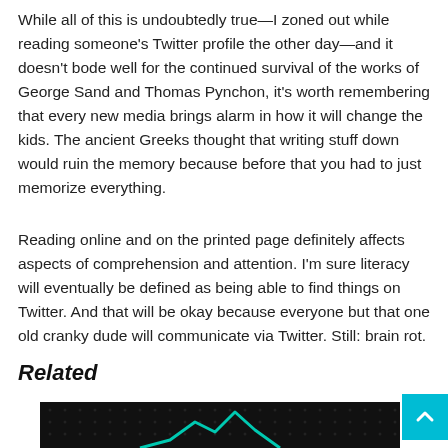While all of this is undoubtedly true—I zoned out while reading someone's Twitter profile the other day—and it doesn't bode well for the continued survival of the works of George Sand and Thomas Pynchon, it's worth remembering that every new media brings alarm in how it will change the kids. The ancient Greeks thought that writing stuff down would ruin the memory because before that you had to just memorize everything.
Reading online and on the printed page definitely affects aspects of comprehension and attention. I'm sure literacy will eventually be defined as being able to find things on Twitter. And that will be okay because everyone but that one old cranky dude will communicate via Twitter. Still: brain rot.
Related
[Figure (photo): Dark image strip with a teal mountain/wave line graphic, partially visible at the bottom of the page.]